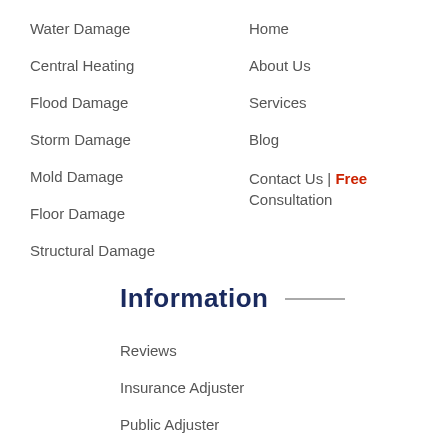Water Damage
Home
Central Heating
About Us
Flood Damage
Services
Storm Damage
Blog
Mold Damage
Contact Us | Free Consultation
Floor Damage
Structural Damage
Information
Reviews
Insurance Adjuster
Public Adjuster